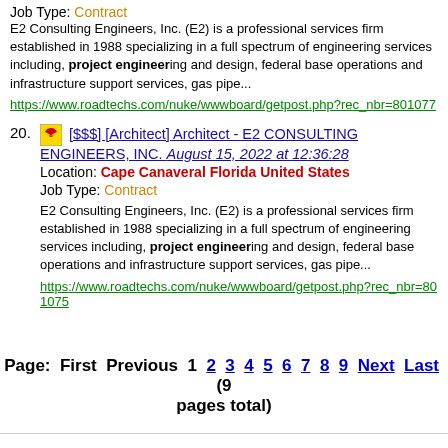Job Type: Contract
E2 Consulting Engineers, Inc. (E2) is a professional services firm established in 1988 specializing in a full spectrum of engineering services including, project engineering and design, federal base operations and infrastructure support services, gas pipe...
https://www.roadtechs.com/nuke/wwwboard/getpost.php?rec_nbr=801077
20. [$$$] [Architect] Architect - E2 CONSULTING ENGINEERS, INC. August 15, 2022 at 12:36:28
Location: Cape Canaveral Florida United States
Job Type: Contract
E2 Consulting Engineers, Inc. (E2) is a professional services firm established in 1988 specializing in a full spectrum of engineering services including, project engineering and design, federal base operations and infrastructure support services, gas pipe...
https://www.roadtechs.com/nuke/wwwboard/getpost.php?rec_nbr=801075
Page: First Previous 1 2 3 4 5 6 7 8 9 Next Last (9 pages total)